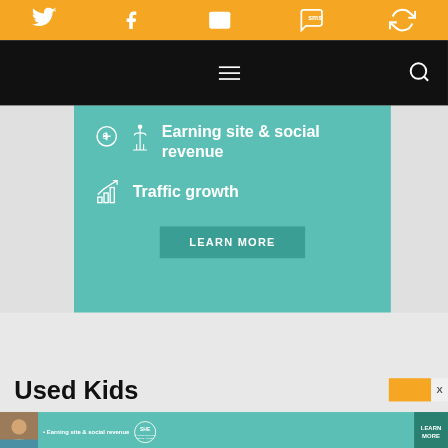[Figure (screenshot): Orange social sharing top bar with Twitter, Facebook, email, SMS, and user icons in white]
[Figure (screenshot): Black navigation bar with hamburger menu icon and search icon]
[Figure (infographic): Teal promo box with dollar sign icon and 'Earning site & social revenue', bar chart icon and 'Traffic growth', and a 'LEARN MORE' button]
Used Kids
[Figure (infographic): Bottom ad banner: SHE Partner Network - Earning site & social revenue - LEARN MORE button, with close X button and orange tab]